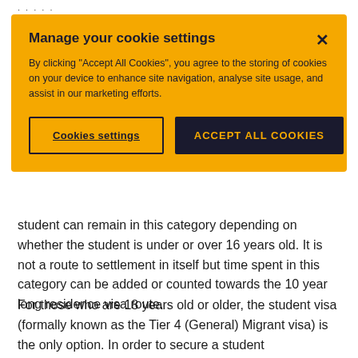[Figure (screenshot): Cookie consent modal overlay with yellow background showing 'Manage your cookie settings' title, descriptive text, a 'Cookies settings' outlined button, and an 'ACCEPT ALL COOKIES' dark filled button, with an X close button in the top right.]
student can remain in this category depending on whether the student is under or over 16 years old. It is not a route to settlement in itself but time spent in this category can be added or counted towards the 10 year long residence visa route.
For those who are 18 years old or older, the student visa (formally known as the Tier 4 (General) Migrant visa) is the only option. In order to secure a student